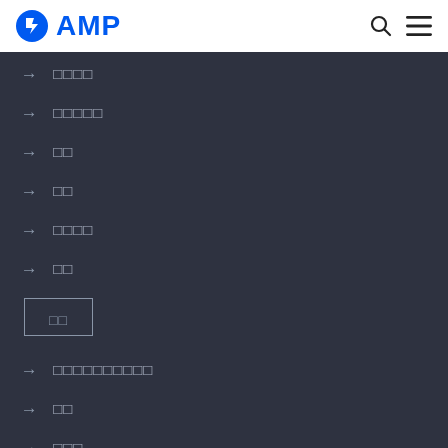AMP
→ □□□□
→ □□□□□
→ □□
→ □□
→ □□□□
→ □□
□□
→ □□□□□□□□□□
→ □□
→ □□□
OpenJS Foundation
→ The OpenJS Foundation
→ OpenJS Foundation Bylaws